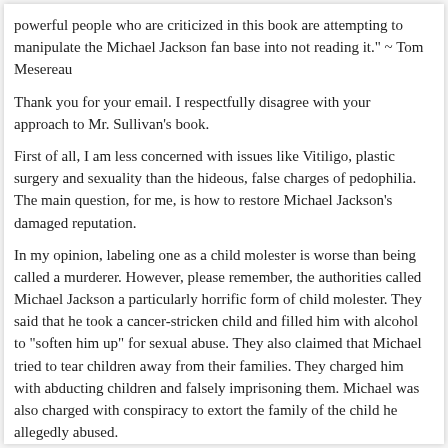powerful people who are criticized in this book are attempting to manipulate the Michael Jackson fan base into not reading it." ~ Tom Mesereau
Thank you for your email. I respectfully disagree with your approach to Mr. Sullivan’s book.
First of all, I am less concerned with issues like Vitiligo, plastic surgery and sexuality than the hideous, false charges of pedophilia. The main question, for me, is how to restore Michael Jackson’s damaged reputation.
In my opinion, labeling one as a child molester is worse than being called a murderer. However, please remember, the authorities called Michael Jackson a particularly horrific form of child molester. They said that he took a cancer-stricken child and filled him with alcohol to “soften him up” for sexual abuse. They also claimed that Michael tried to tear children away from their families. They charged him with abducting children and falsely imprisoning them. Michael was also charged with conspiracy to extort the family of the child he allegedly abused.
There are three general groups of people that are relevant to this issue.